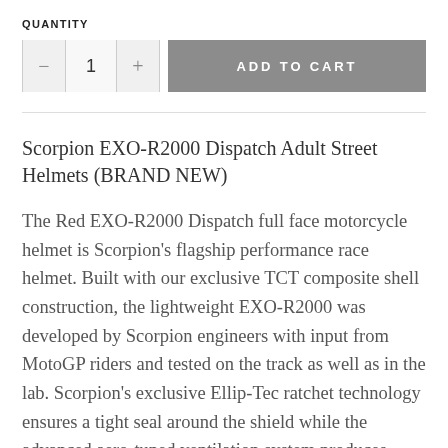QUANTITY
— 1 + ADD TO CART
Scorpion EXO-R2000 Dispatch Adult Street Helmets (BRAND NEW)
The Red EXO-R2000 Dispatch full face motorcycle helmet is Scorpion's flagship performance race helmet. Built with our exclusive TCT composite shell construction, the lightweight EXO-R2000 was developed by Scorpion engineers with input from MotoGP riders and tested on the track as well as in the lab. Scorpion's exclusive Ellip-Tec ratchet technology ensures a tight seal around the shield while the advanced aero-tuned ventilation system produces generous airflow and circulation throughout the helmet. The aerodynamically designed tear-drop shell shape minimizes buffeting at